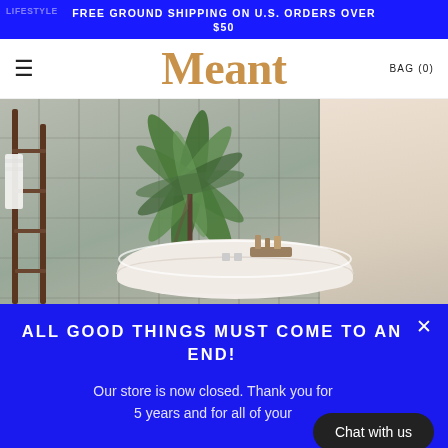FREE GROUND SHIPPING ON U.S. ORDERS OVER $50
Meant
BAG (0)
[Figure (photo): Lifestyle bathroom photo showing a freestanding white bathtub in the center, a wooden towel ladder on the left with white towels, tropical palm plants in the background against a stone-textured wall, product bottles on a tray, and a light-colored tiled area on the right.]
ALL GOOD THINGS MUST COME TO AN END!
Our store is now closed. Thank you for 5 years and for all of your
Chat with us